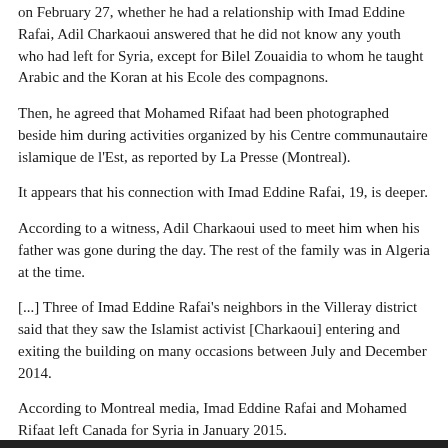on February 27, whether he had a relationship with Imad Eddine Rafai, Adil Charkaoui answered that he did not know any youth who had left for Syria, except for Bilel Zouaidia to whom he taught Arabic and the Koran at his Ecole des compagnons.
Then, he agreed that Mohamed Rifaat had been photographed beside him during activities organized by his Centre communautaire islamique de l'Est, as reported by La Presse (Montreal).
It appears that his connection with Imad Eddine Rafai, 19, is deeper.
According to a witness, Adil Charkaoui used to meet him when his father was gone during the day. The rest of the family was in Algeria at the time.
[...] Three of Imad Eddine Rafai's neighbors in the Villeray district said that they saw the Islamist activist [Charkaoui] entering and exiting the building on many occasions between July and December 2014.
According to Montreal media, Imad Eddine Rafai and Mohamed Rifaat left Canada for Syria in January 2015.